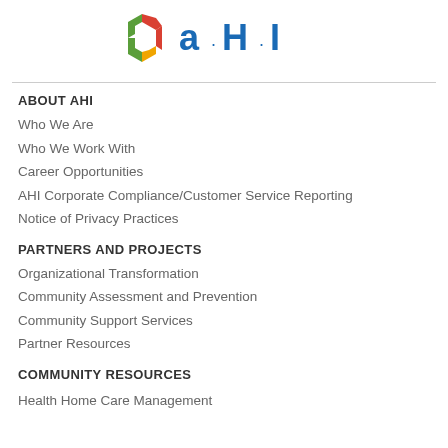[Figure (logo): AHI logo with colorful hexagon icon and 'a·H·I' text in blue]
ABOUT AHI
Who We Are
Who We Work With
Career Opportunities
AHI Corporate Compliance/Customer Service Reporting
Notice of Privacy Practices
PARTNERS AND PROJECTS
Organizational Transformation
Community Assessment and Prevention
Community Support Services
Partner Resources
COMMUNITY RESOURCES
Health Home Care Management